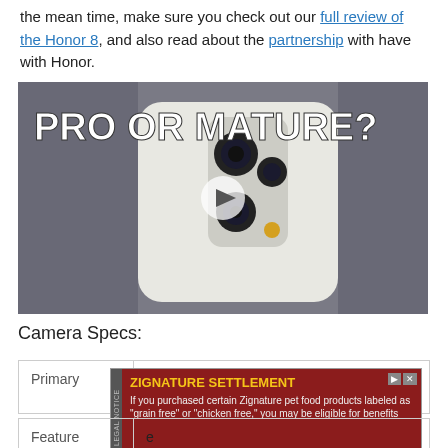the mean time, make sure you check out our full review of the Honor 8, and also read about the partnership with have with Honor.
[Figure (screenshot): Video thumbnail showing a white smartphone (back view with dual cameras) with text 'PRO OR MATURE?' overlaid in bold white letters, with a play button in the center. Background shows textured grey fabric.]
Camera Specs:
| Primary | Dual 12 MP, f/2.2, laser autofocus, dual-LED (dual tone) |
| Feature | e |
[Figure (screenshot): Advertisement overlay: ZIGNATURE SETTLEMENT - If you purchased certain Zignature pet food products labeled as 'grain free' or 'chicken free,' you may be eligible for benefits. Dark red background with yellow title text.]